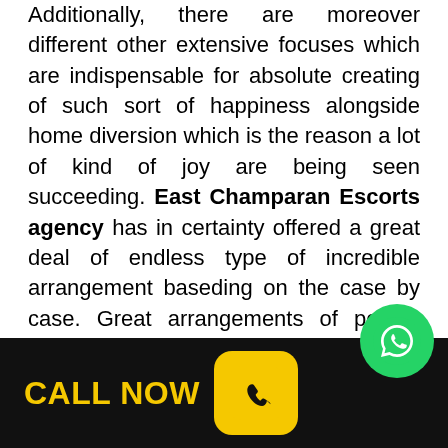Additionally, there are moreover different other extensive focuses which are indispensable for absolute creating of such sort of happiness alongside home diversion which is the reason a lot of kind of joy are being seen succeeding. East Champaran Escorts agency has in certainty offered a great deal of endless type of incredible arrangement baseding on the case by case. Great arrangements of people that would identify with the city might undoubtedly want to have distinctive sort of satisfaction alongside fulfillments pondering that they don't plan to have the existence which abounds with bluntness alongside various different focuses when mentioned for. In the event that you are a worker gentlemen alongside require something uncommon pal elective subsequently can. You hatever you intend to with very one of your necessities u pay me a phenomenal sum.
[Figure (other): Black banner with yellow 'CALL NOW' text and a yellow rounded rectangle containing a telephone handset icon]
[Figure (other): Green circular WhatsApp logo button]